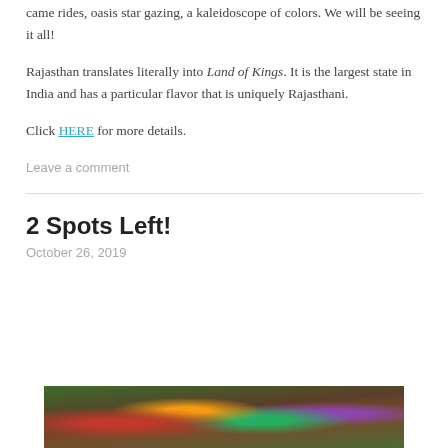came rides, oasis star gazing, a kaleidoscope of colors. We will be seeing it all!
Rajasthan translates literally into Land of Kings. It is the largest state in India and has a particular flavor that is uniquely Rajasthani.
Click HERE for more details.
Leave a comment
2 Spots Left!
October 26, 2019
[Figure (photo): Photo of two people with colorful flowers and greenery in the background]